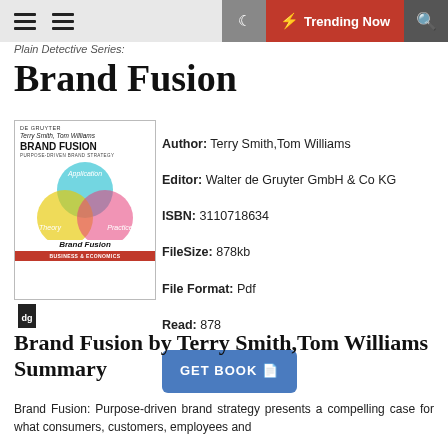Plain Detective Series:
Brand Fusion
[Figure (illustration): Book cover of Brand Fusion by Terry Smith and Tom Williams, published by De Gruyter. Features a Venn diagram with three overlapping circles labeled Application, Theory, and Practice, with the book title Brand Fusion below. Red bar at bottom reads BUSINESS & ECONOMICS.]
Author: Terry Smith,Tom Williams
Editor: Walter de Gruyter GmbH & Co KG
ISBN: 3110718634
FileSize: 878kb
File Format: Pdf
Read: 878
Brand Fusion by Terry Smith,Tom Williams Summary
Brand Fusion: Purpose-driven brand strategy presents a compelling case for what consumers, customers, employees and